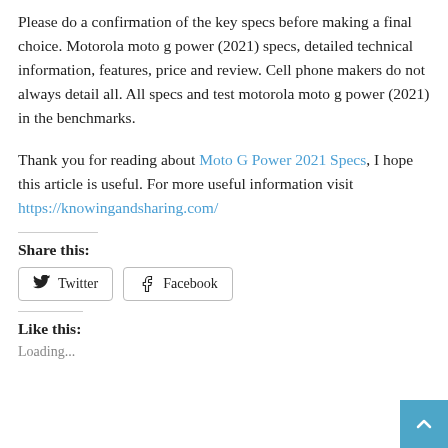Please do a confirmation of the key specs before making a final choice. Motorola moto g power (2021) specs, detailed technical information, features, price and review. Cell phone makers do not always detail all. All specs and test motorola moto g power (2021) in the benchmarks.
Thank you for reading about Moto G Power 2021 Specs, I hope this article is useful. For more useful information visit https://knowingandsharing.com/
Share this:
Twitter
Facebook
Like this:
Loading...